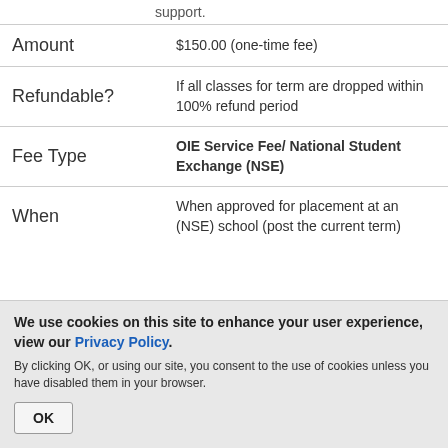support.
| Amount | $150.00 (one-time fee) |
| Refundable? | If all classes for term are dropped within 100% refund period |
| Fee Type | OIE Service Fee/ National Student Exchange (NSE) |
| When | When approved for placement at an (NSE) school (post the current term) |
We use cookies on this site to enhance your user experience, view our Privacy Policy. By clicking OK, or using our site, you consent to the use of cookies unless you have disabled them in your browser.